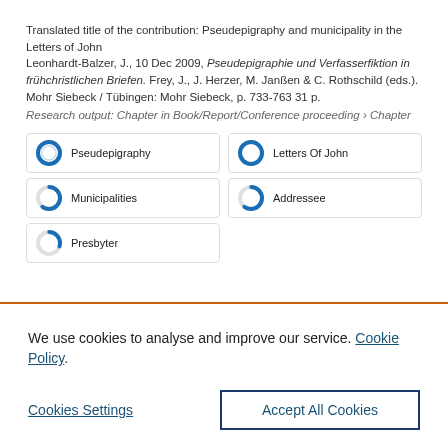Translated title of the contribution: Pseudepigraphy and municipality in the Letters of John
Leonhardt-Balzer, J., 10 Dec 2009, Pseudepigraphie und Verfasserfiktion in frühchristlichen Briefen. Frey, J., J. Herzer, M. Janßen & C. Rothschild (eds.). Mohr Siebeck / Tübingen: Mohr Siebeck, p. 733-763 31 p.
Research output: Chapter in Book/Report/Conference proceeding › Chapter
[Figure (infographic): Five keyword badges each showing a donut/circle chart with percentage fill and label: Pseudepigraphy (100%), Letters Of John (100%), Municipalities (~60%), Addressee (~60%), Presbyter (~30%)]
We use cookies to analyse and improve our service. Cookie Policy
Cookies Settings
Accept All Cookies